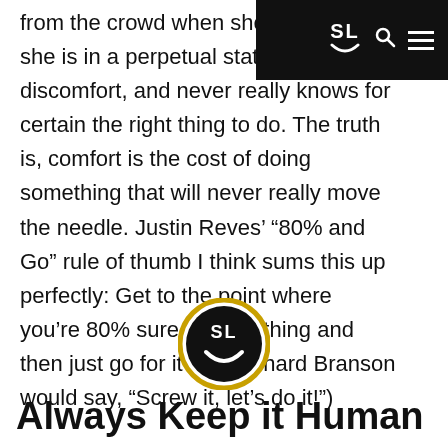SL navigation bar with logo, search, and menu
from the crowd when she she is in a perpetual state discomfort, and never really knows for certain the right thing to do. The truth is, comfort is the cost of doing something that will never really move the needle. Justin Reves' ‘80% and Go” rule of thumb I think sums this up perfectly: Get to the point where you’re 80% sure of something and then just go for it  (as Richard Branson would say, “Screw it, let’s do it!”)
[Figure (logo): SL smiley face logo circle with gold/yellow accent ring]
Always Keep it Human